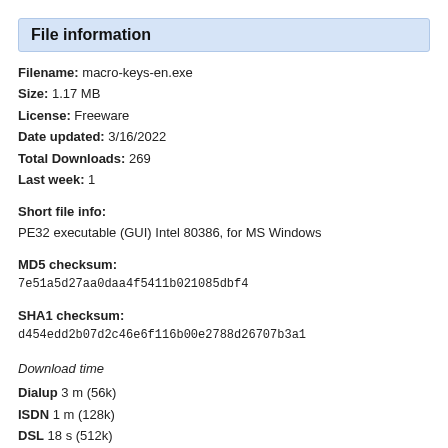File information
Filename: macro-keys-en.exe
Size: 1.17 MB
License: Freeware
Date updated: 3/16/2022
Total Downloads: 269
Last week: 1
Short file info:
PE32 executable (GUI) Intel 80386, for MS Windows
MD5 checksum:
7e51a5d27aa0daa4f5411b021085dbf4
SHA1 checksum:
d454edd2b07d2c46e6f116b00e2788d26707b3a1
Download time
Dialup 3 m (56k)
ISDN 1 m (128k)
DSL 18 s (512k)